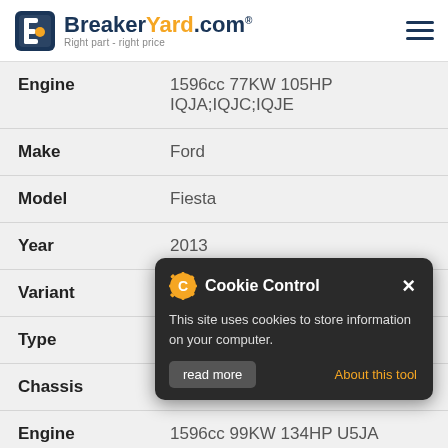BreakerYard.com - Right part - right price
| Field | Value |
| --- | --- |
| Engine | 1596cc 77KW 105HP IQJA;IQJC;IQJE |
| Make | Ford |
| Model | Fiesta |
| Year | 2013 |
| Variant | Petrol Hatchback |
| Type | 1.6 Ti |
| Chassis | FWD VI CB1 CCN |
| Engine | 1596cc 99KW 134HP U5JA |
| Make | Ford |
[Figure (screenshot): Cookie Control popup overlay with title 'Cookie Control', gear icon, close X button, text 'This site uses cookies to store information on your computer.', 'About this tool' link in orange, and 'read more' button]